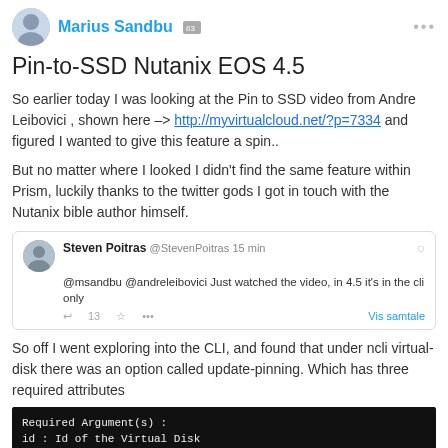Marius Sandbu
Pin-to-SSD Nutanix EOS 4.5
So earlier today I was looking at the Pin to SSD video from Andre Leibovici , shown here –> http://myvirtualcloud.net/?p=7334 and figured I wanted to give this feature a spin..
But no matter where I looked I didn't find the same feature within Prism, luckily thanks to the twitter gods I got in touch with the Nutanix bible author himself.
[Figure (screenshot): Tweet from Steven Poitras (@StevenPoitras) 15 min: @msandbu @andreleibovici Just watched the video, in 4.5 it's in the cli only]
So off I went exploring into the CLI, and found that under ncli virtual-disk there was an option called update-pinning. Which has three required attributes
[Figure (screenshot): Terminal screenshot showing: Required Argument(s): id : Id of the Virtual Disk  tier-name : Name of the Tier]